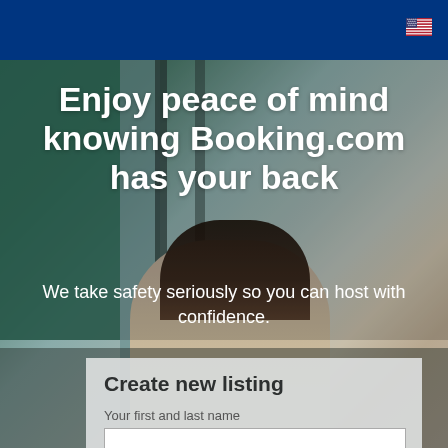[Figure (photo): Background photo of a woman sitting at a desk/laptop in a room with teal/green walls, blurred, used as hero image behind text]
Enjoy peace of mind knowing Booking.com has your back
We take safety seriously so you can host with confidence.
Create new listing
Your first and last name